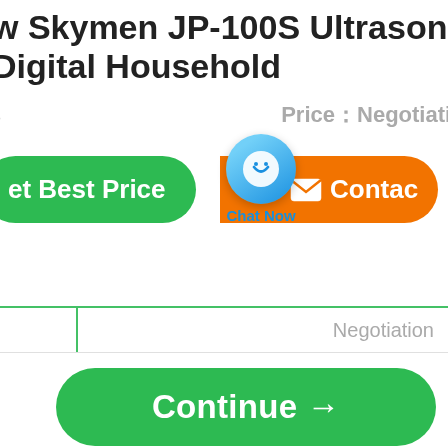w Skymen JP-100S Ultrasonic Cl Digital Household
s  Price：Negotiation
[Figure (screenshot): E-commerce product page showing 'Get Best Price' green button, a blue chat bubble with smiley face labeled 'Chat Now', and an orange 'Contact' button side by side]
Negotiation
[Figure (screenshot): Green 'Continue →' button at the bottom of the page]